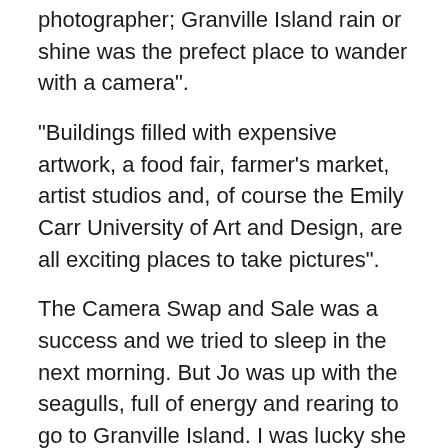photographer; Granville Island rain or shine was the prefect place to wander with a camera".
“Buildings filled with expensive artwork, a food fair, farmer’s market, artist studios and, of course the Emily Carr University of Art and Design, are all exciting places to take pictures”.
The Camera Swap and Sale was a success and we tried to sleep in the next morning. But Jo was up with the seagulls, full of energy and rearing to go to Granville Island. I was lucky she even gave me the time to eat the hotel’s complimentary breakfast.
I had told her we would spend as much time as we could doing photography on Granville Island. We had stopped for a short time on Saturday night (before Sunday’s event) so Laurie could photograph buildings across False Creek